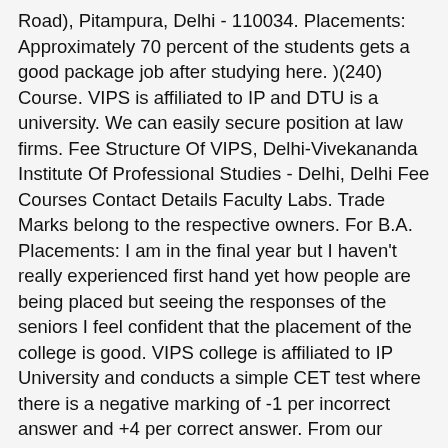Road), Pitampura, Delhi - 110034. Placements: Approximately 70 percent of the students gets a good package job after studying here. )(240) Course. VIPS is affiliated to IP and DTU is a university. We can easily secure position at law firms. Fee Structure Of VIPS, Delhi-Vivekananda Institute Of Professional Studies - Delhi, Delhi Fee Courses Contact Details Faculty Labs. Trade Marks belong to the respective owners. For B.A. Placements: I am in the final year but I haven't really experienced first hand yet how people are being placed but seeing the responses of the seniors I feel confident that the placement of the college is good. VIPS college is affiliated to IP University and conducts a simple CET test where there is a negative marking of -1 per incorrect answer and +4 per correct answer. From our course, nearly 90% of the students got internships in India's leading companies. For admission, the candidate will attend the University's counselling after obtaining the minimum cut-off mark. 83800/-B.A. Hello, Please go with this college predictor. Direct Admission in LLB through Management Quota. Hence there were